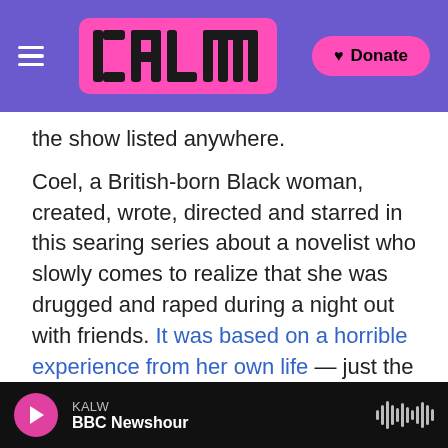[Figure (screenshot): KALW radio website navigation bar with pink logo and purple background, hamburger menu on left, pink Donate button on right]
the show listed anywhere.
Coel, a British-born Black woman, created, wrote, directed and starred in this searing series about a novelist who slowly comes to realize that she was drugged and raped during a night out with friends. It was based on a horrible experience from her own life — just the sort of personal and artistic courage that awards shows like the Globes are supposed to reward.
But they didn't even give her a chance.
Beyond her own achievements, Coel's work was
[Figure (screenshot): Audio player bar at bottom: pink play button, KALW station label, BBC Newshour show name, waveform icon on right, black background]